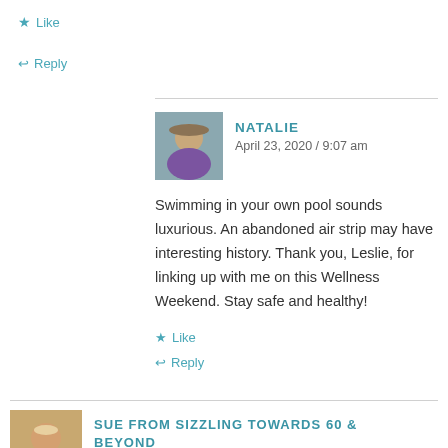★ Like
↩ Reply
NATALIE
April 23, 2020 / 9:07 am
Swimming in your own pool sounds luxurious. An abandoned air strip may have interesting history. Thank you, Leslie, for linking up with me on this Wellness Weekend. Stay safe and healthy!
★ Like
↩ Reply
SUE FROM SIZZLING TOWARDS 60 & BEYOND